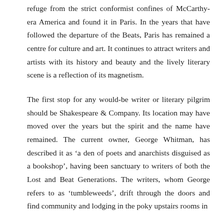refuge from the strict conformist confines of McCarthy-era America and found it in Paris. In the years that have followed the departure of the Beats, Paris has remained a centre for culture and art. It continues to attract writers and artists with its history and beauty and the lively literary scene is a reflection of its magnetism.
The first stop for any would-be writer or literary pilgrim should be Shakespeare & Company. Its location may have moved over the years but the spirit and the name have remained. The current owner, George Whitman, has described it as ‘a den of poets and anarchists disguised as a bookshop’, having been sanctuary to writers of both the Lost and Beat Generations. The writers, whom George refers to as ‘tumbleweeds’, drift through the doors and find community and lodging in the poky upstairs rooms in